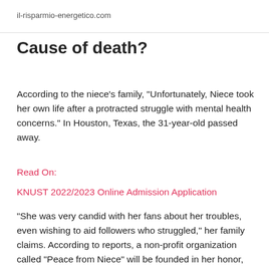il-risparmio-energetico.com
Cause of death?
According to the niece's family, "Unfortunately, Niece took her own life after a protracted struggle with mental health concerns." In Houston, Texas, the 31-year-old passed away.
Read On:
KNUST 2022/2023 Online Admission Application
"She was very candid with her fans about her troubles, even wishing to aid followers who struggled," her family claims. According to reports, a non-profit organization called "Peace from Niece" will be founded in her honor, and the organization will promote mental health awareness and award grants for the study of mental illnesses.